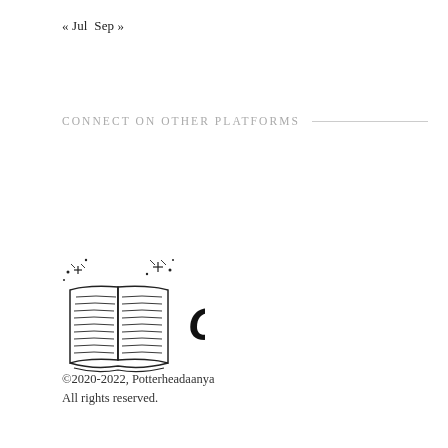« Jul  Sep »
CONNECT ON OTHER PLATFORMS
[Figure (illustration): Open book with sparkles/stars illustration (line art), next to bold italic 'Copyright' text]
©2020-2022, Potterheadaanya
All rights reserved.